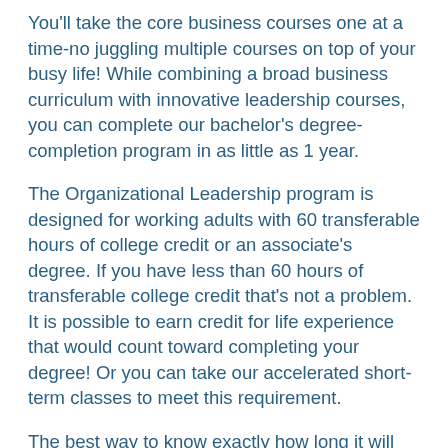You'll take the core business courses one at a time-no juggling multiple courses on top of your busy life! While combining a broad business curriculum with innovative leadership courses, you can complete our bachelor's degree-completion program in as little as 1 year.
The Organizational Leadership program is designed for working adults with 60 transferable hours of college credit or an associate's degree. If you have less than 60 hours of transferable college credit that's not a problem. It is possible to earn credit for life experience that would count toward completing your degree! Or you can take our accelerated short-term classes to meet this requirement.
The best way to know exactly how long it will take you to complete your Organizational Leadership degree is to have your transcripts evaluated by one of our admissions counselors. Request your free unofficial transcript evaluation now and get started furthering your career.